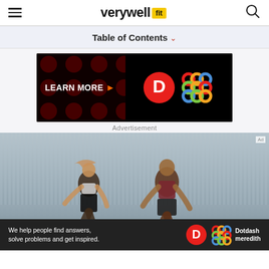verywell fit
Table of Contents
[Figure (photo): Advertisement banner with dark background showing 'LEARN MORE' text, a red circle with letter D, and a colorful interlocking circles logo (Dotdash Meredith)]
Advertisement
[Figure (photo): Two runners (a woman and a man) jogging in front of a corrugated metal wall background]
[Figure (photo): Bottom banner ad: 'We help people find answers, solve problems and get inspired.' with Dotdash Meredith logo]